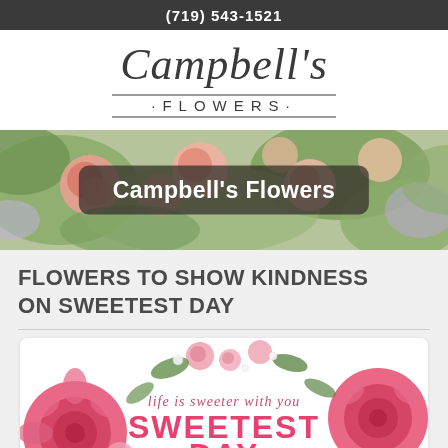(719) 543-1521
[Figure (logo): Campbell's Flowers script and sans-serif logo with decorative underline]
[Figure (photo): Banner photo of colorful flowers (pink roses, green leaves) with overlay label 'Campbell's Flowers']
FLOWERS TO SHOW KINDNESS ON SWEETEST DAY
[Figure (photo): Sweetest Day promotional card with pink dahlias and roses, text 'life is sweeter with you' and 'SWEETEST DAY']